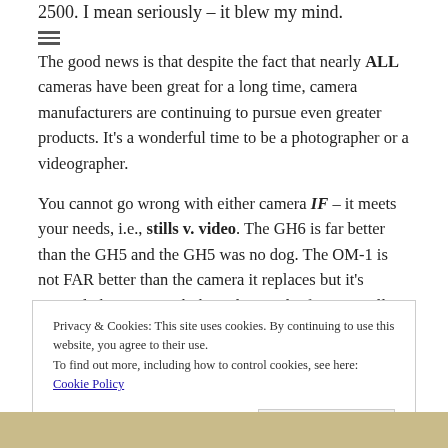2500. I mean seriously – it blew my mind.
The good news is that despite the fact that nearly ALL cameras have been great for a long time, camera manufacturers are continuing to pursue even greater products. It's a wonderful time to be a photographer or a videographer.
You cannot go wrong with either camera IF – it meets your needs, i.e., stills v. video. The GH6 is far better than the GH5 and the GH5 was no dog. The OM-1 is not FAR better than the camera it replaces but it's certainly better enough that I'd upgrade if I were still an Olympus man.
Privacy & Cookies: This site uses cookies. By continuing to use this website, you agree to their use.
To find out more, including how to control cookies, see here: Cookie Policy
[Figure (photo): Partial photo strip at bottom of page, showing a blurred warm-toned image]